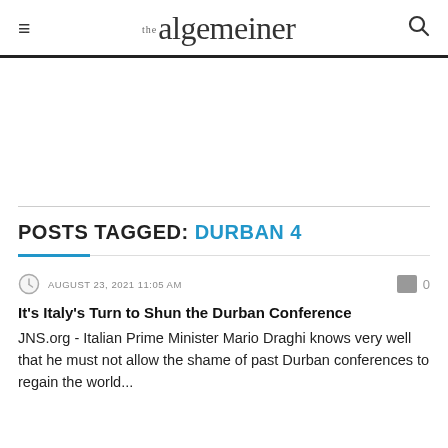the algemeiner
[Figure (other): Advertisement area, blank white space]
POSTS TAGGED: DURBAN 4
AUGUST 23, 2021 11:05 AM
0
It's Italy's Turn to Shun the Durban Conference
JNS.org - Italian Prime Minister Mario Draghi knows very well that he must not allow the shame of past Durban conferences to regain the world...